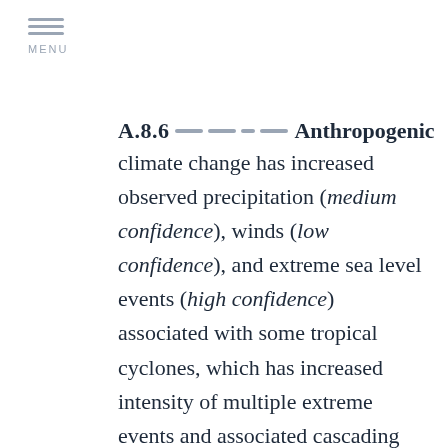MENU
A.8.6 Anthropogenic climate change has increased observed precipitation (medium confidence), winds (low confidence), and extreme sea level events (high confidence) associated with some tropical cyclones, which has increased intensity of multiple extreme events and associated cascading impacts (high confidence). Anthropogenic climate change may have